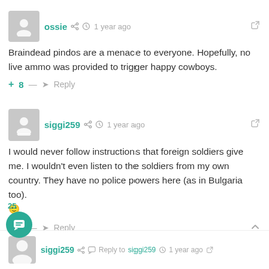ossie · 1 year ago
Braindead pindos are a menace to everyone. Hopefully, no live ammo was provided to trigger happy cowboys.
+ 8 — Reply
siggi259 · 1 year ago
I would never follow instructions that foreign soldiers give me. I wouldn't even listen to the soldiers from my own country. They have no police powers here (as in Bulgaria too). 🙂
+ 5 — Reply
siggi259 · Reply to siggi259 · 1 year ago